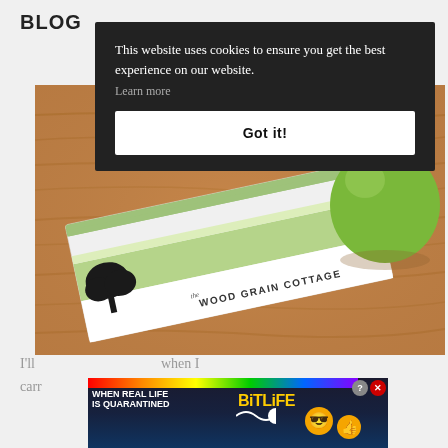BLOG
[Figure (photo): Photo of a Wood Grain Cottage business card with green stripe design on a wooden table, next to a green apple]
This website uses cookies to ensure you get the best experience on our website.
Learn more
Got it!
I'll ... when I carry ... loud.
[Figure (infographic): BitLife advertisement banner: 'WHEN REAL LIFE IS QUARANTINED' with rainbow, BitLife logo, emoji characters, question mark and close button]